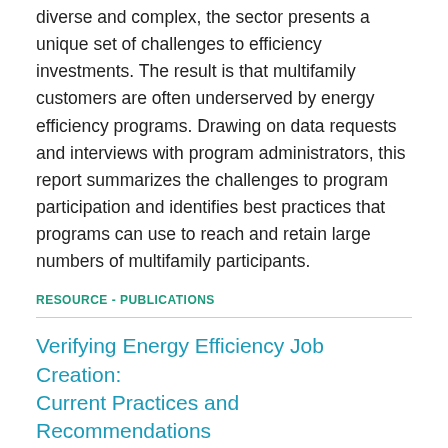diverse and complex, the sector presents a unique set of challenges to efficiency investments. The result is that multifamily customers are often underserved by energy efficiency programs. Drawing on data requests and interviews with program administrators, this report summarizes the challenges to program participation and identifies best practices that programs can use to reach and retain large numbers of multifamily participants.
RESOURCE - PUBLICATIONS
Verifying Energy Efficiency Job Creation: Current Practices and Recommendations
Author(s)
American Council for an Energy-Efficient Economy
Publication Date
2015
Organizations or Programs
New York State Energy Research and Development Authority (NYSERDA), Tennessee Valley Authority (TVA), Energy Right Solutions